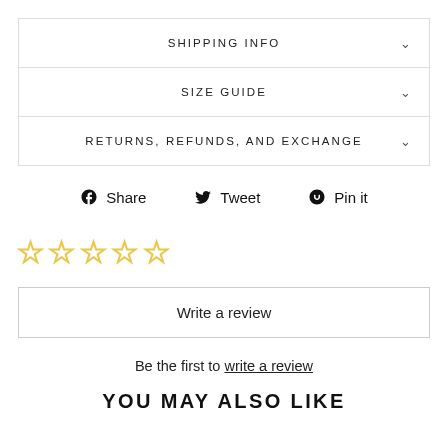SHIPPING INFO
SIZE GUIDE
RETURNS, REFUNDS, AND EXCHANGE
Share  Tweet  Pin it
[Figure (other): Five empty gold star rating icons]
Write a review
Be the first to write a review
YOU MAY ALSO LIKE